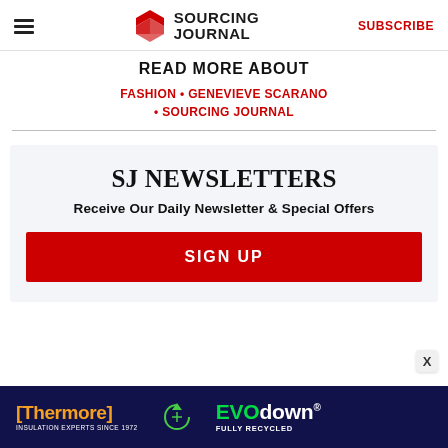Sourcing Journal — SUBSCRIBE
READ MORE ABOUT
FASHION • GENEVIEVE SCARANO • SOURCING JOURNAL
SJ NEWSLETTERS
Receive Our Daily Newsletter & Special Offers
SIGN UP
[Figure (infographic): Thermore and EVO down advertisement banner — dark blue background with Thermore brand logo in orange, recycling icon, and EVO down brand name in green and white with FULLY RECYCLED tagline]